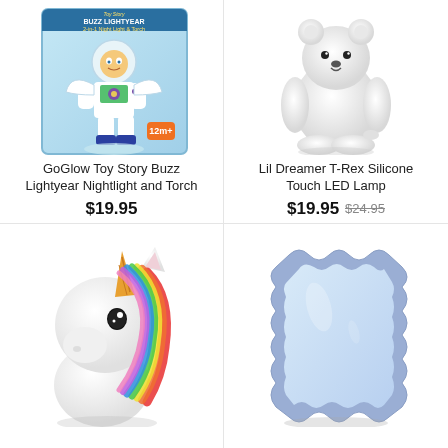[Figure (photo): GoGlow Toy Story Buzz Lightyear Nightlight and Torch product photo]
GoGlow Toy Story Buzz Lightyear Nightlight and Torch
$19.95
[Figure (photo): Lil Dreamer T-Rex Silicone Touch LED Lamp product photo - white bear-shaped silicone lamp]
Lil Dreamer T-Rex Silicone Touch LED Lamp
$19.95  $24.95
[Figure (photo): Unicorn head lamp/nightlight with rainbow mane]
[Figure (photo): Blue scalloped-edge mirror]